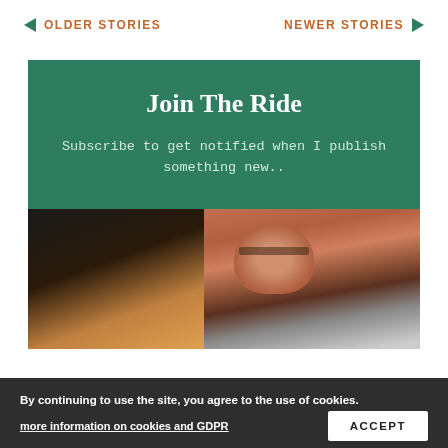← OLDER STORIES    NEWER STORIES →
Join The Ride
Subscribe to get notified when I publish something new..
[Figure (photo): Person with glasses looking down at something, partially lit, against dark background]
By continuing to use the site, you agree to the use of cookies.
more information on cookies and GDPR
ACCEPT